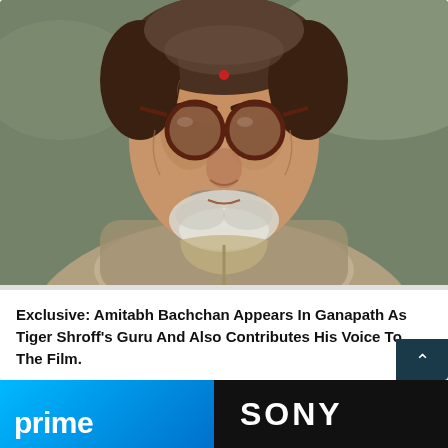[Figure (photo): Close-up photo of elderly Indian man (Amitabh Bachchan) wearing dark brown round glasses, red bindi on forehead, white beard and mustache, wearing a beige/khaki zip-up jacket, outdoors background.]
Exclusive: Amitabh Bachchan Appears In Ganapath As Tiger Shroff's Guru And Also Contributes His Voice To The Film.
[Figure (logo): Amazon Prime logo — blue gradient background with white text 'prime' at bottom left, and Sony logo — black background with white bold text 'SONY' on the right side.]